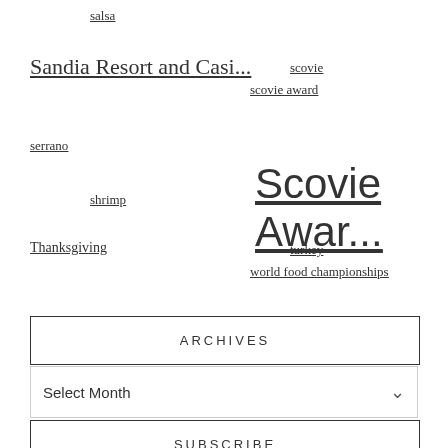salsa
Sandia Resort and Casi...
scovie
scovie award
serrano
Scovie Awar...
shrimp
Thanksgiving
turkey
world food championships
ARCHIVES
Select Month
SUBSCRIBE
Fields marked with an * are required
Email *